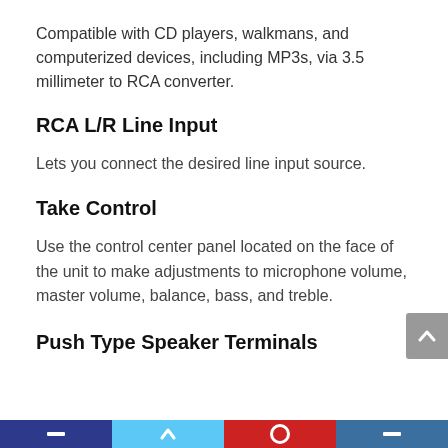Compatible with CD players, walkmans, and computerized devices, including MP3s, via 3.5 millimeter to RCA converter.
RCA L/R Line Input
Lets you connect the desired line input source.
Take Control
Use the control center panel located on the face of the unit to make adjustments to microphone volume, master volume, balance, bass, and treble.
Push Type Speaker Terminals